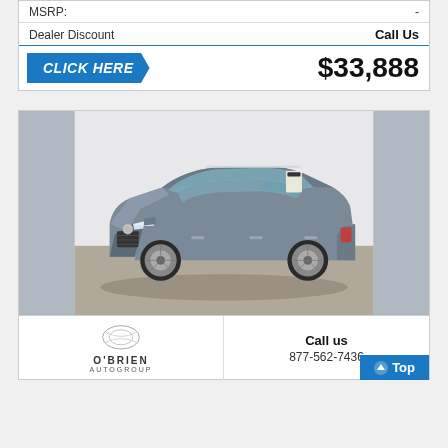|  |  |
| --- | --- |
| MSRP: | - |
| Dealer Discount | Call Us |
CLICK HERE   $33,888
[Figure (photo): Gray Volkswagen Atlas SUV photographed from a front three-quarter angle in a showroom/photo studio setting. The vehicle is a large silver-gray crossover with chrome grille, LED headlights, and silver alloy wheels.]
O'BRIEN AUTOGROUP
Call us
877-562-7436